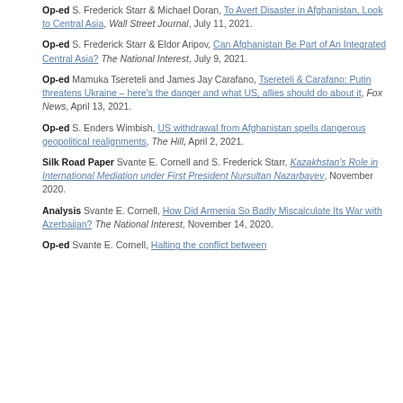Op-ed S. Frederick Starr & Michael Doran, To Avert Disaster in Afghanistan, Look to Central Asia, Wall Street Journal, July 11, 2021.
Op-ed S. Frederick Starr & Eldor Aripov, Can Afghanistan Be Part of An Integrated Central Asia? The National Interest, July 9, 2021.
Op-ed Mamuka Tsereteli and James Jay Carafano, Tsereteli & Carafano: Putin threatens Ukraine – here's the danger and what US, allies should do about it, Fox News, April 13, 2021.
Op-ed S. Enders Wimbish, US withdrawal from Afghanistan spells dangerous geopolitical realignments, The Hill, April 2, 2021.
Silk Road Paper Svante E. Cornell and S. Frederick Starr, Kazakhstan's Role in International Mediation under First President Nursultan Nazarbayev, November 2020.
Analysis Svante E. Cornell, How Did Armenia So Badly Miscalculate Its War with Azerbaijan? The National Interest, November 14, 2020.
Op-ed Svante E. Cornell, Halting the conflict between